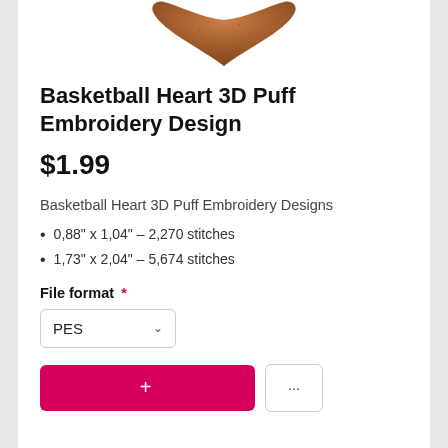[Figure (photo): Bottom portion of a basketball heart 3D puff embroidery design photo, showing the lower tip of a heart shape in brown/orange embroidery texture against a white background.]
Basketball Heart 3D Puff Embroidery Design
$1.99
Basketball Heart 3D Puff Embroidery Designs
0,88" x 1,04" – 2,270 stitches
1,73" x 2,04" – 5,674 stitches
File format *
PES
[Figure (screenshot): Add to cart button (pink/red) partially visible at bottom, and a quantity selector button.]